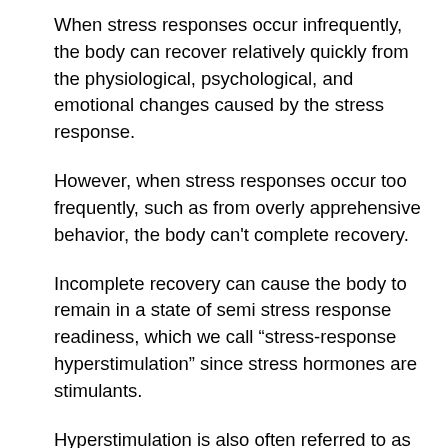When stress responses occur infrequently, the body can recover relatively quickly from the physiological, psychological, and emotional changes caused by the stress response.
However, when stress responses occur too frequently, such as from overly apprehensive behavior, the body can’t complete recovery.
Incomplete recovery can cause the body to remain in a state of semi stress response readiness, which we call “stress-response hyperstimulation” since stress hormones are stimulants.
Hyperstimulation is also often referred to as